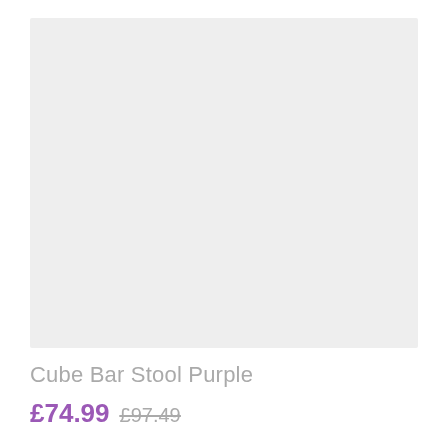[Figure (photo): Product image placeholder — light grey rectangle representing a Cube Bar Stool Purple]
Cube Bar Stool Purple
£74.99  £97.49